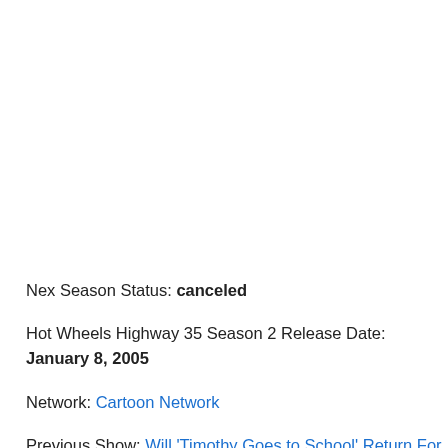Nex Season Status: canceled
Hot Wheels Highway 35 Season 2 Release Date: January 8, 2005
Network: Cartoon Network
Previous Show: Will 'Timothy Goes to School' Return For